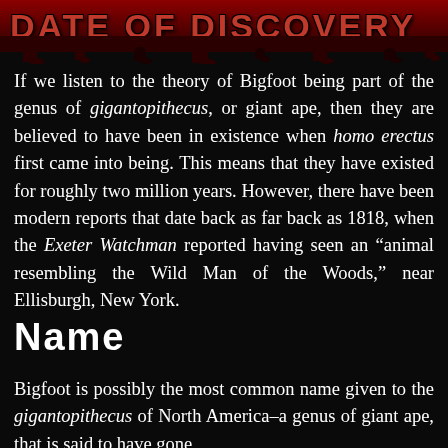Date of Discovery
If we listen to the theory of Bigfoot being part of the genus of gigantopithecus, or giant ape, then they are believed to have been in existence when homo erectus first came into being. This means that they have existed for roughly two million years. However, there have been modern reports that date back as far back as 1818, when the Exeter Watchman reported having seen an “animal resembling the Wild Man of the Woods,” near Ellisburgh, New York.
Name
Bigfoot is possibly the most common name given to the gigantopithecus of North America–a genus of giant ape, that is said to have gone